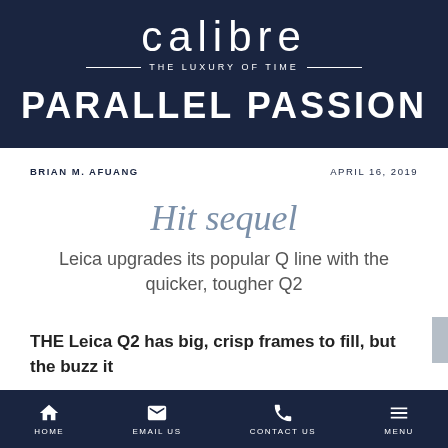calibre THE LUXURY OF TIME — PARALLEL PASSION
BRIAN M. AFUANG   APRIL 16, 2019
Hit sequel
Leica upgrades its popular Q line with the quicker, tougher Q2
THE Leica Q2 has big, crisp frames to fill, but the buzz it is creating among enthusiasts and pros alike suggests
HOME   EMAIL US   CONTACT US   MENU